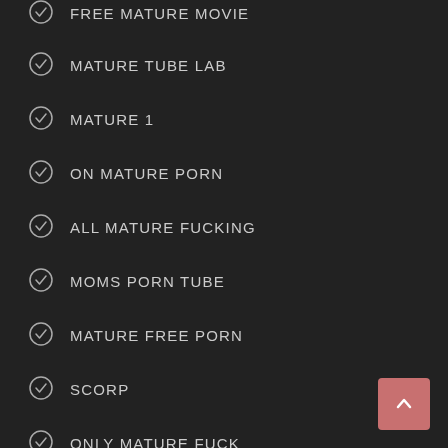FREE MATURE MOVIE
MATURE TUBE LAB
MATURE 1
ON MATURE PORN
ALL MATURE FUCKING
MOMS PORN TUBE
MATURE FREE PORN
SCORP
ONLY MATURE FUCK
MATURE XXX VIDEO